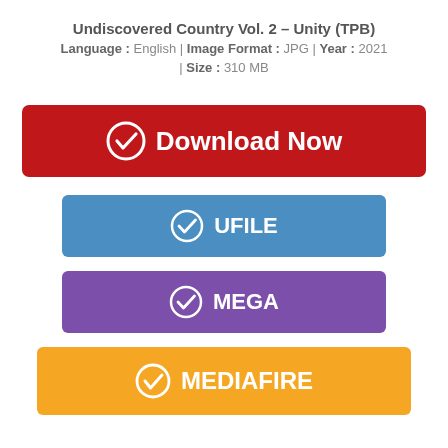Undiscovered Country Vol. 2 – Unity (TPB)
Language : English | Image Format : JPG | Year : 2021 | Size : 310 MB
[Figure (infographic): Red Download Now button with checkmark circle icon]
[Figure (infographic): Blue UFILE button with checkmark circle icon]
[Figure (infographic): Purple MEGA button with checkmark circle icon]
[Figure (infographic): Orange MEDIAFIRE button with checkmark circle icon]